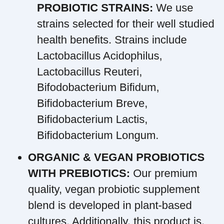PROBIOTIC STRAINS: We use strains selected for their well studied health benefits. Strains include Lactobacillus Acidophilus, Lactobacillus Reuteri, Bifodobacterium Bifidum, Bifidobacterium Breve, Bifidobacterium Lactis, Bifidobacterium Longum.
ORGANIC & VEGAN PROBIOTICS WITH PREBIOTICS: Our premium quality, vegan probiotic supplement blend is developed in plant-based cultures. Additionally, this product is, as always, certified made with organic, free of gluten, dairy, GMOs, and soy.
ORGANIC PREBIOTICS INCLUDED: Prebiotics are what fuels probiotics. As such, our powder includes prebiotic fiber from